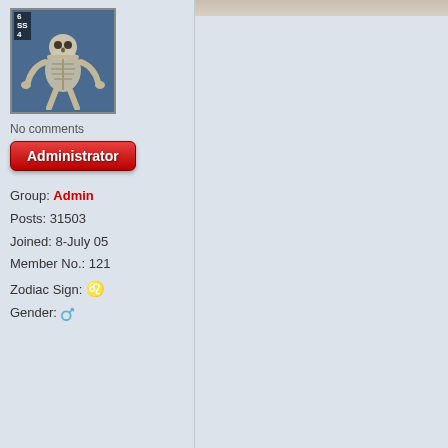[Figure (illustration): Forum user avatar showing a skeletal creature on blue background with rank badge showing 6, SS, 4 in top-left corner]
No comments
Administrator
Group: Admin
Posts: 31503
Joined: 8-July 05
Member No.: 121
Zodiac Sign: ♌
Gender: ♂